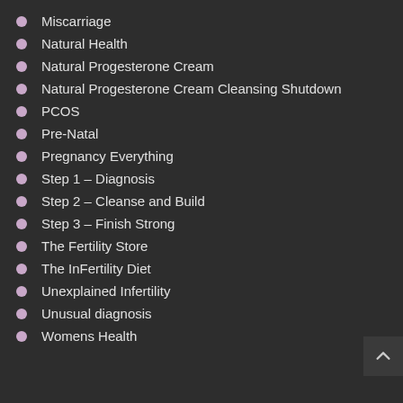Miscarriage
Natural Health
Natural Progesterone Cream
Natural Progesterone Cream Cleansing Shutdown
PCOS
Pre-Natal
Pregnancy Everything
Step 1 – Diagnosis
Step 2 – Cleanse and Build
Step 3 – Finish Strong
The Fertility Store
The InFertility Diet
Unexplained Infertility
Unusual diagnosis
Womens Health